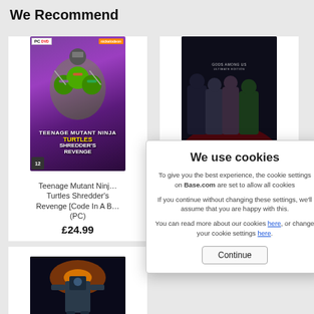We Recommend
[Figure (photo): Teenage Mutant Ninja Turtles Shredder's Revenge PC DVD game cover with purple background and TMNT characters]
Teenage Mutant Ninja Turtles Shredder's Revenge [Code In A Box] (PC)
£24.99
[Figure (photo): Injustice Gods Among Us Ultimate Edition PC DVD game cover with dark background and superhero characters]
[Figure (photo): Mechs & Mercs PC game cover with dark sci-fi background]
We use cookies
To give you the best experience, the cookie settings on Base.com are set to allow all cookies
If you continue without changing these settings, we'll assume that you are happy with this.
You can read more about our cookies here, or change your cookie settings here.
Continue